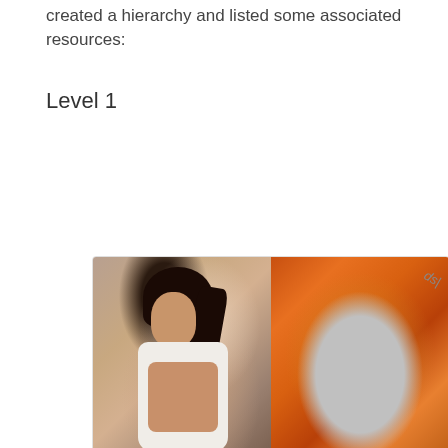created a hierarchy and listed some associated resources:
Level 1
[Figure (photo): Advertisement card showing a fit woman lifting her shirt to reveal abs on the left, and a metal teaspoon filled with orange spice powder on the right.]
A Teaspoon On An Empty Stomach Burns Fat Like Crazy!
Big pharma doesn't want you to know about this new fat-blocking code.
Find Out More
142,775